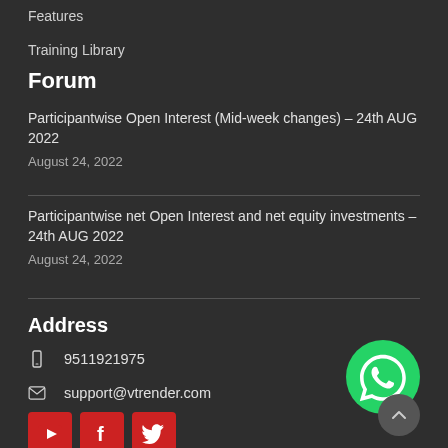Features
Training Library
Forum
Participantwise Open Interest (Mid-week changes) – 24th AUG 2022
August 24, 2022
Participantwise net Open Interest and net equity investments – 24th AUG 2022
August 24, 2022
Address
9511921975
support@vtrender.com
[Figure (logo): WhatsApp green circle logo icon]
[Figure (logo): Social media buttons: YouTube, Facebook, Twitter (red square icons)]